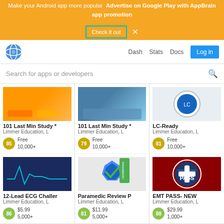Make your Android app more popular  Advertise on Google Play with AppBrain app promotion  Check it out  ×
[Figure (logo): AppBrain globe logo]
Dash  Stats  Docs  Log in
Search for apps or developers
101 Last Min Study *
Limmer Education, L
85  Free  10,000+
101 Last Min Study *
Limmer Education, L
79  Free  10,000+
LC-Ready
Limmer Education, L
81  Free  10,000+
12-Lead ECG Challer
Limmer Education, L
86  $5.99  5,000+
Paramedic Review P
Limmer Education, L
81  $11.99  5,000+
EMT PASS- NEW
Limmer Education, L
88  $29.99  1,000+